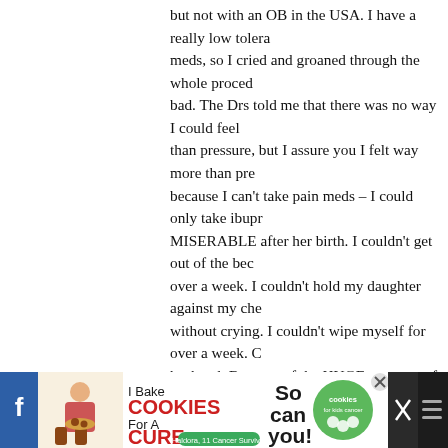but not with an OB in the USA. I have a really low tolerance for meds, so I cried and groaned through the whole procedure. It was bad. The Drs told me that there was no way I could feel more than pressure, but I assure you I felt way more than pressure. And because I can't take pain meds – I could only take ibuprofen – I was MISERABLE after her birth. I couldn't get out of the bed for well over a week. I couldn't hold my daughter against my chest for a week without crying. I couldn't wipe myself for over a week. Or shower without husband. Because of the HUGE amounts of antibiotics they pumped me up with to prevent infection since I was laying open on a table, I ended up with thrush which made BFing horribly painful for MONTHS as we battled thrush. Because my daughter was so low in the pelvis (she was totally able to be born vaginally, already nestled down where she needed to be) they had to TUG and PULL her out. It took them several minutes to get her out and her back and hips were bruised black and blue for over a week. She had to see a chiropractor to help her be more comfortable because of it. 11 months later and my incision is still SORE to the touch. So.... like others have stated, for a low-risk woman, VBA...
[Figure (screenshot): Advertisement banner: 'I Bake COOKIES For A CURE' with image of girl holding cookies, tagline 'So can you!' and Cookies for Kids Cancer logo with close button.]